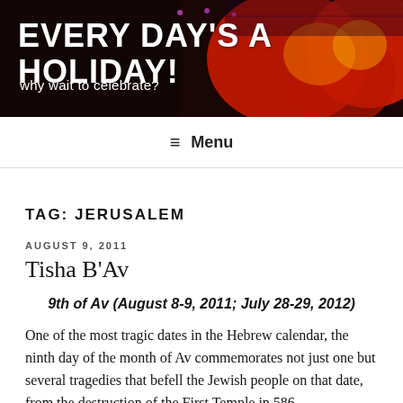EVERY DAY'S A HOLIDAY! why wait to celebrate?
Menu
TAG: JERUSALEM
AUGUST 9, 2011
Tisha B'Av
9th of Av (August 8-9, 2011; July 28-29, 2012)
One of the most tragic dates in the Hebrew calendar, the ninth day of the month of Av commemorates not just one but several tragedies that befell the Jewish people on that date, from the destruction of the First Temple in 586